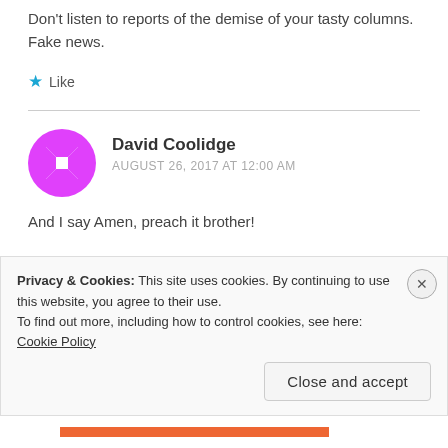Don't listen to reports of the demise of your tasty columns. Fake news.
★ Like
David Coolidge
AUGUST 26, 2017 AT 12:00 AM
And I say Amen, preach it brother!
Privacy & Cookies: This site uses cookies. By continuing to use this website, you agree to their use.
To find out more, including how to control cookies, see here: Cookie Policy
Close and accept